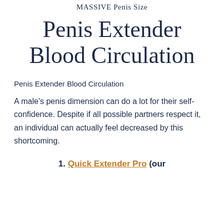MASSIVE Penis Size
Penis Extender Blood Circulation
Penis Extender Blood Circulation
A male's penis dimension can do a lot for their self-confidence. Despite if all possible partners respect it, an individual can actually feel decreased by this shortcoming.
1. Quick Extender Pro (our